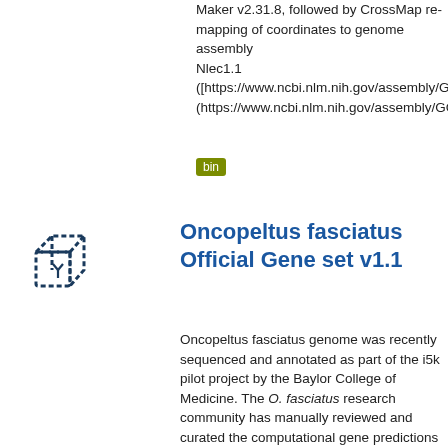Maker v2.31.8, followed by CrossMap re-mapping of coordinates to genome assembly Nlec1.1 ([https://www.ncbi.nlm.nih.gov/assembly/GCA_001 (https://www.ncbi.nlm.nih.gov/assembly/GCA_0012
bin
[Figure (illustration): Dashed cubic box icon in dark blue outline]
Oncopeltus fasciatus Official Gene set v1.1
Oncopeltus fasciatus genome was recently sequenced and annotated as part of the i5k pilot project by the Baylor College of Medicine. The O. fasciatus research community has manually reviewed and curated the computational gene predictions and generated an official gene set, OGSv1.1. This dataset presents the Oncopeltus fasciatus Official Gene Set (OGS) v1.1. The